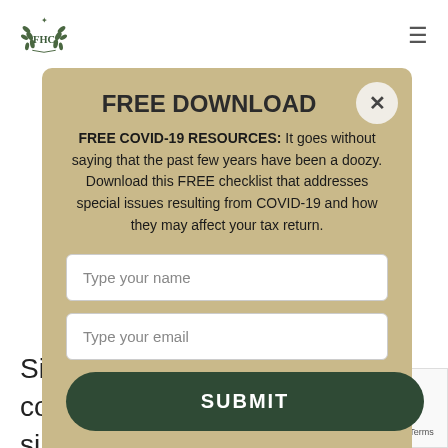[Figure (logo): FHC laurel wreath logo at top left]
FREE DOWNLOAD
FREE COVID-19 RESOURCES: It goes without saying that the past few years have been a doozy. Download this FREE checklist that addresses special issues resulting from COVID-19 and how they may affect your tax return.
Type your name
Type your email
SUBMIT
Site or for any consequential, special or similar damages, even advised of the possibility of such damages.